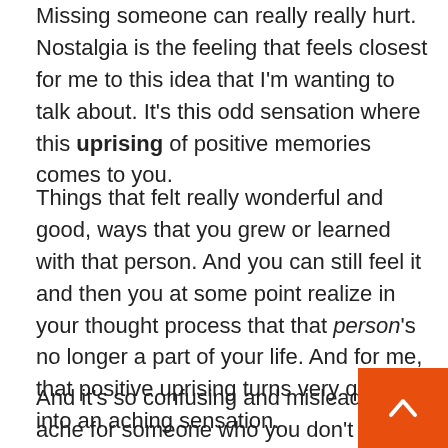Missing someone can really really hurt. Nostalgia is the feeling that feels closest for me to this idea that I'm wanting to talk about. It's this odd sensation where this uprising of positive memories comes to you.
Things that felt really wonderful and good, ways that you grew or learned with that person. And you can still feel it and then you at some point realize in your thought process that that person's no longer a part of your life. And for me, that positive uprising turns very quickly into an aching sensation.
And it's so confusing and misleading to ache for someone who you don't want to be with. Maybe it's even someone you don't want in your life at all. But yet, you're hurting about it.
If you're creative or artistic, maybe you're still writing about it, maybe you're still painting about it, maybe